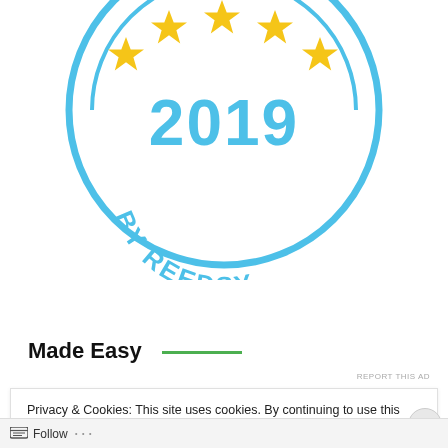[Figure (logo): Reedsy 2019 five-star badge: circular blue badge with five gold stars at top, large '2019' text in blue, and 'BY REEDSY' text curved along the bottom arc]
Made Easy
REPORT THIS AD
Privacy & Cookies: This site uses cookies. By continuing to use this website, you agree to their use.
To find out more, including how to control cookies, see here: Cookie Policy
Close and accept
Follow